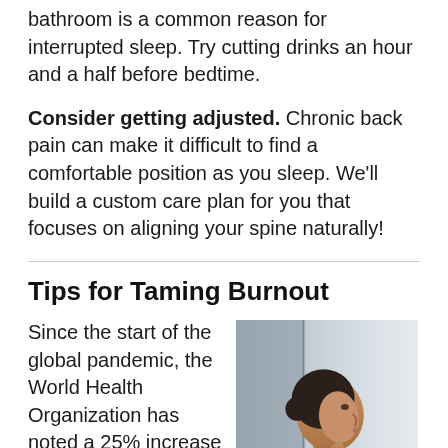bathroom is a common reason for interrupted sleep. Try cutting drinks an hour and a half before bedtime.
Consider getting adjusted. Chronic back pain can make it difficult to find a comfortable position as you sleep. We'll build a custom care plan for you that focuses on aligning your spine naturally!
Tips for Taming Burnout
[Figure (photo): A woman in profile view looking upward, wearing a grey sweater, photographed against a light background]
Since the start of the global pandemic, the World Health Organization has noted a 25% increase worldwide in feelings of anxiety, stress, and depression.